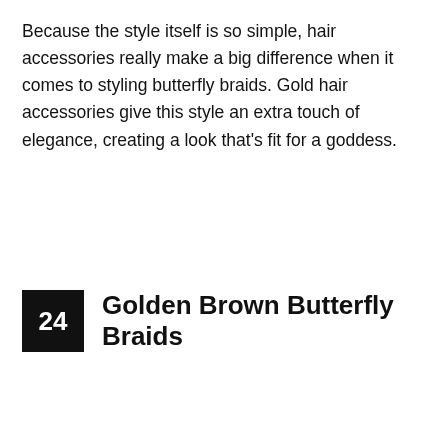Because the style itself is so simple, hair accessories really make a big difference when it comes to styling butterfly braids. Gold hair accessories give this style an extra touch of elegance, creating a look that's fit for a goddess.
24  Golden Brown Butterfly Braids